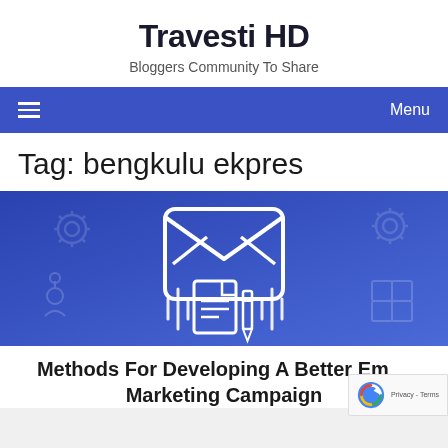Travesti HD
Bloggers Community To Share
Menu
Tag: bengkulu ekpres
[Figure (illustration): Blue banner with white line-art email envelope icon, document and pen icon below it, gear icons and puzzle/person icons in the background]
Methods For Developing A Better Email Marketing Campaign